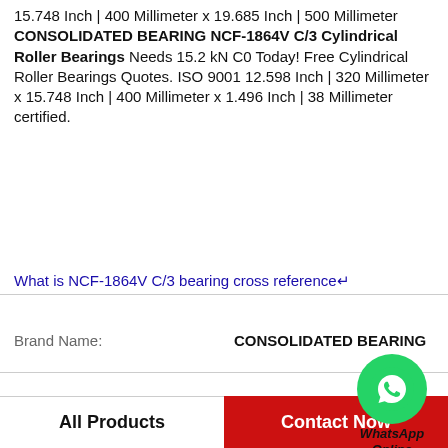15.748 Inch | 400 Millimeter x 19.685 Inch | 500 Millimeter CONSOLIDATED BEARING NCF-1864V C/3 Cylindrical Roller Bearings Needs 15.2 kN C0 Today! Free Cylindrical Roller Bearings Quotes. ISO 9001 12.598 Inch | 320 Millimeter x 15.748 Inch | 400 Millimeter x 1.496 Inch | 38 Millimeter certified.
What is NCF-1864V C/3 bearing cross reference
| Property | Value |
| --- | --- |
| Brand Name: | CONSOLIDATED BEARING |
| Model Number: | NCF-1864V C/3 |
| Dz: | 80 mm |
| J: | 92 mm |
| C0: | 15.2 kN |
| T max.: | 100 °C |
[Figure (logo): WhatsApp Online green circle icon with phone handset and label WhatsApp Online]
All Products
Contact Now